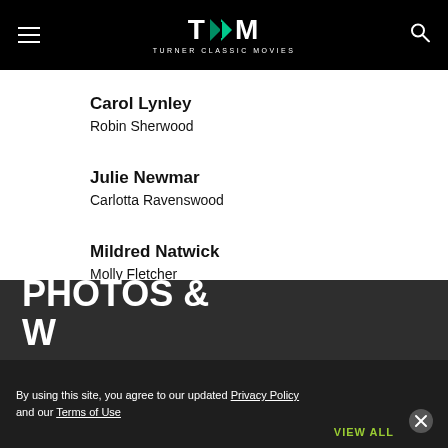TCM Turner Classic Movies
Carol Lynley
Robin Sherwood
Julie Newmar
Carlotta Ravenswood
Mildred Natwick
Molly Fletcher
PHOTOS &
W
By using this site, you agree to our updated Privacy Policy and our Terms of Use